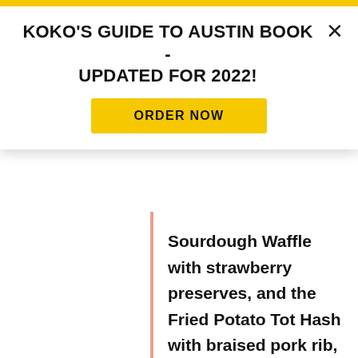KOKO'S GUIDE TO AUSTIN BOOK - UPDATED FOR 2022!
ORDER NOW
Sourdough Waffle with strawberry preserves, and the Fried Potato Tot Hash with braised pork rib, a poached egg and hollandaise.
The bar offers a wide array of specialty cocktails from Chief of Bar Operations Jennifer Keyser,